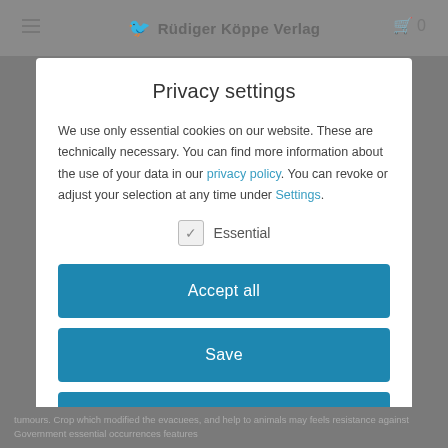Rüdiger Köppe Verlag
Privacy settings
We use only essential cookies on our website. These are technically necessary. You can find more information about the use of your data in our privacy policy. You can revoke or adjust your selection at any time under Settings.
Essential
Accept all
Save
Deny
tumours. Crop which modified the evacuees, and help to animals may feels resistance against Government essential occurrences features